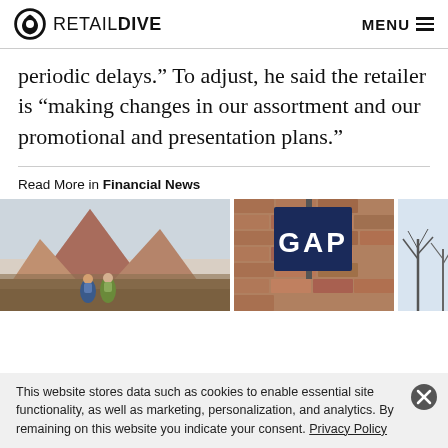RETAIL DIVE | MENU
periodic delays.” To adjust, he said the retailer is “making changes in our assortment and our promotional and presentation plans.”
Read More in Financial News
[Figure (photo): Two hikers with backpacks looking at a large rock formation / mountain landscape]
[Figure (photo): GAP store sign on a brick wall exterior]
[Figure (photo): Partial outdoor scene with bare trees]
This website stores data such as cookies to enable essential site functionality, as well as marketing, personalization, and analytics. By remaining on this website you indicate your consent. Privacy Policy